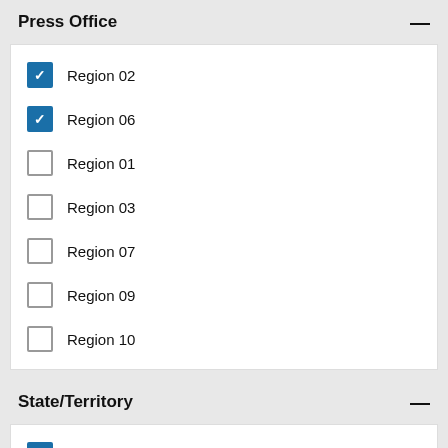Press Office
Region 02 (checked)
Region 06 (checked)
Region 01
Region 03
Region 07
Region 09
Region 10
State/Territory
States (checked)
Arkansas